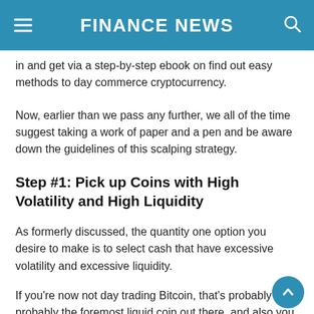FINANCE NEWS
in and get via a step-by-step ebook on find out easy methods to day commerce cryptocurrency.
Now, earlier than we pass any further, we all of the time suggest taking a work of paper and a pen and be aware down the guidelines of this scalping strategy.
Step #1: Pick up Coins with High Volatility and High Liquidity
As formerly discussed, the quantity one option you desire to make is to select cash that have excessive volatility and excessive liquidity.
If you're now not day trading Bitcoin, that's probably probably the foremost liquid coin out there, and also you is it like the alt coins at the next level there and that l